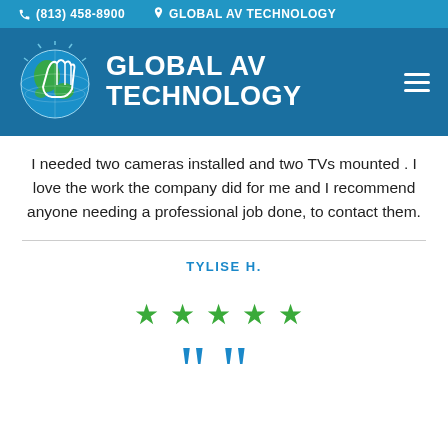(813) 458-8900  GLOBAL AV TECHNOLOGY
[Figure (logo): Global AV Technology logo with globe graphic and company name]
I needed two cameras installed and two TVs mounted . I love the work the company did for me and I recommend anyone needing a professional job done, to contact them.
TYLISE H.
[Figure (other): Five green star rating]
[Figure (other): Large blue opening quotation marks]